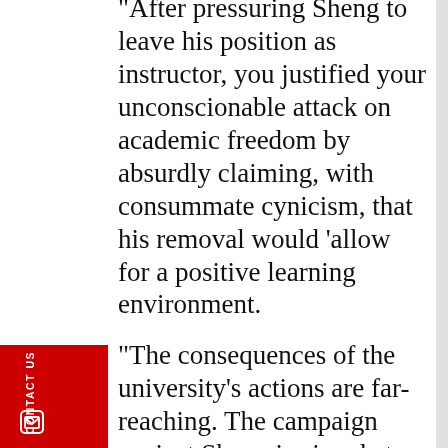“After pressuring Sheng to leave his position as instructor, you justified your unconscionable attack on academic freedom by absurdly claiming, with consummate cynicism, that his removal would ‘allow for a positive learning environment.
“The consequences of the university’s actions are far-reaching. The campaign against Sheng is aimed at intimidating faculty members and students who oppose the use of race and other elements of identity politics to stifle
CONTACT US